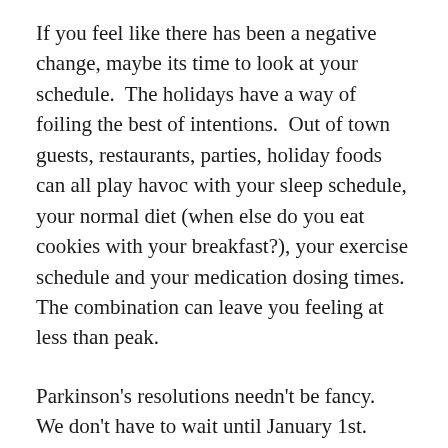If you feel like there has been a negative change, maybe its time to look at your schedule.  The holidays have a way of foiling the best of intentions.  Out of town guests, restaurants, parties, holiday foods can all play havoc with your sleep schedule, your normal diet (when else do you eat cookies with your breakfast?), your exercise schedule and your medication dosing times.  The combination can leave you feeling at less than peak.
Parkinson's resolutions needn't be fancy.  We don't have to wait until January 1st.  Add a 15 minute walk 3 days a week.  Make yourself eat a healthy balanced breakfast.  Work on eating more vegetables and fruit.  Investigate the produce aisle and try something new.  Drink more water .